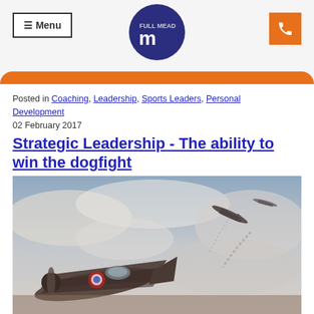Menu | Full Mead Logo | Phone
Posted in Coaching, Leadership, Sports Leaders, Personal Development
02 February 2017
Strategic Leadership - The ability to win the dogfight
[Figure (photo): WWII-era fighter aircraft in aerial dogfight, viewed from close behind one aircraft with others visible in cloudy sky]
The ability of a leader to set strategy is fundamental to the long term success of a business. More than that,